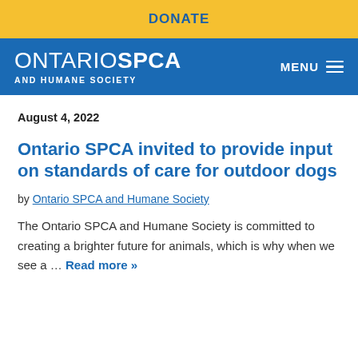DONATE
ONTARIO SPCA AND HUMANE SOCIETY  MENU
August 4, 2022
Ontario SPCA invited to provide input on standards of care for outdoor dogs
by Ontario SPCA and Humane Society
The Ontario SPCA and Humane Society is committed to creating a brighter future for animals, which is why when we see a … Read more »